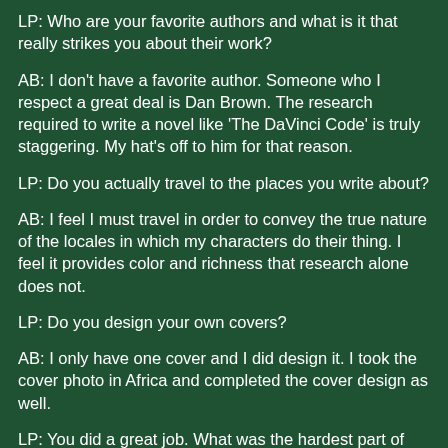LP: Who are your favorite authors and what is it that really strikes you about their work?
AB: I don't have a favorite author. Someone who I respect a great deal is Dan Brown. The research required to write a novel like 'The DaVinci Code' is truly staggering. My hat's off to him for that reason.
LP: Do you actually travel to the places you write about?
AB: I feel I must travel in order to convey the true nature of the locales in which my characters do their thing. I feel it provides color and richness that research alone does not.
LP: Do you design your own covers?
AB: I only have one cover and I did design it. I took the cover photo in Africa and completed the cover design as well.
LP: You did a great job. What was the hardest part of writing your book?